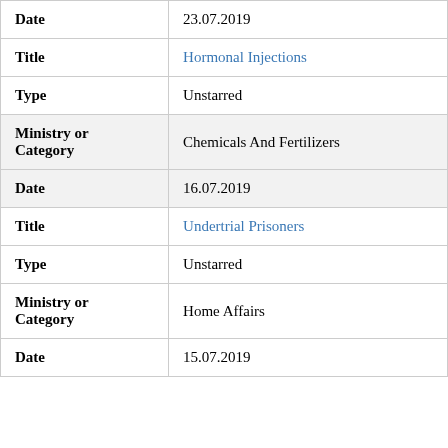| Date | 23.07.2019 |
| Title | Hormonal Injections |
| Type | Unstarred |
| Ministry or Category | Chemicals And Fertilizers |
| Date | 16.07.2019 |
| Title | Undertrial Prisoners |
| Type | Unstarred |
| Ministry or Category | Home Affairs |
| Date | 15.07.2019 |